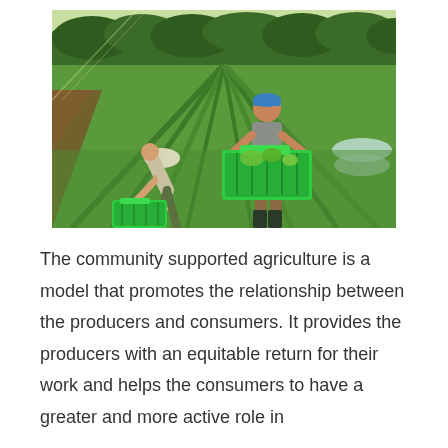[Figure (photo): Two farmers working in a green field. One person is bent over picking vegetables into a green crate, another is standing upright carrying a green crate filled with produce. Rows of crops are visible in the background with trees.]
The community supported agriculture is a model that promotes the relationship between the producers and consumers. It provides the producers with an equitable return for their work and helps the consumers to have a greater and more active role in